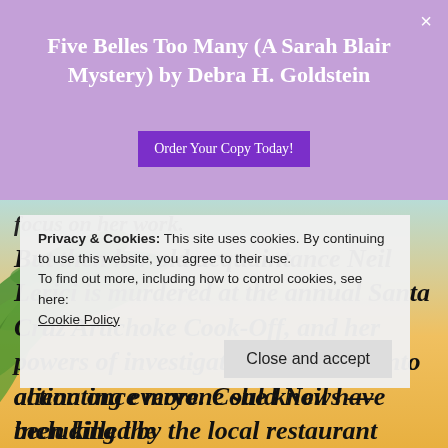Five Belles Too Many (A Sarah Blair Mystery) by Debra H. Goldstein
focus on her work.
But then her old acquaintance Neil Lerici is murdered at the annual Santa Cruz Artichoke Cook-Off, and her powers of investigation are called into action once more. Could Neil have been killed by the local restaurant owner who took his winning spot at the competition? Or
Privacy & Cookies: This site uses cookies. By continuing to use this website, you agree to their use. To find out more, including how to control cookies, see here: Cookie Policy
alienating everyone she knows — including the